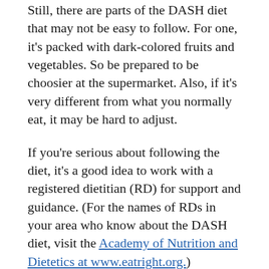Still, there are parts of the DASH diet that may not be easy to follow. For one, it's packed with dark-colored fruits and vegetables. So be prepared to be choosier at the supermarket. Also, if it's very different from what you normally eat, it may be hard to adjust.
If you're serious about following the diet, it's a good idea to work with a registered dietitian (RD) for support and guidance. (For the names of RDs in your area who know about the DASH diet, visit the Academy of Nutrition and Dietetics at www.eatright.org.)
Moving forward
If you decide to go it alone, adopt the DASH diet slowly. By doing so, you'll be more likely to stick to it long-term. For instance, add 1 more serving of vegetables at lunch and dinner if you eat only 1 or 2.